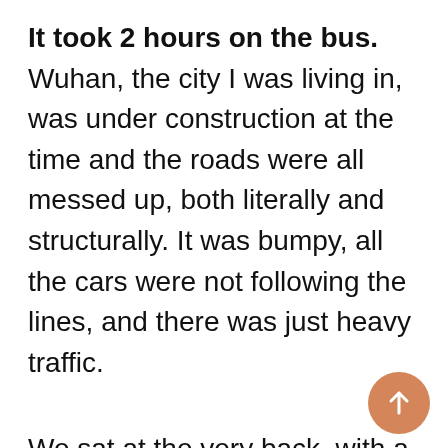It took 2 hours on the bus. Wuhan, the city I was living in, was under construction at the time and the roads were all messed up, both literally and structurally. It was bumpy, all the cars were not following the lines, and there was just heavy traffic.
We sat at the very back, with a step up, and watched as the bus inched its way to the metro station.
Eons later, we finally made it to the don shop and got delicious desserts!